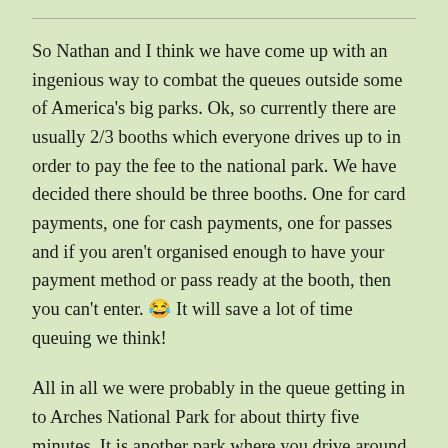So Nathan and I think we have come up with an ingenious way to combat the queues outside some of America's big parks. Ok, so currently there are usually 2/3 booths which everyone drives up to in order to pay the fee to the national park. We have decided there should be three booths. One for card payments, one for cash payments, one for passes and if you aren't organised enough to have your payment method or pass ready at the booth, then you can't enter. 😂 It will save a lot of time queuing we think!
All in all we were probably in the queue getting in to Arches National Park for about thirty five minutes. It is another park where you drive around stopping at viewpoints, but this one you need to get out and do the